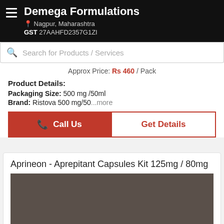Demega Formulations
Nagpur, Maharashtra
GST 27AAHFD2357G1ZI
Search for Products / Services
Approx Price: Rs 460 / Pack
Product Details:
Packaging Size: 500 mg /50ml
Brand: Ristova 500 mg/50...more
Call Us
Get Details
Aprineon - Aprepitant Capsules Kit 125mg / 80mg
[Figure (photo): Product image placeholder for Aprineon Aprepitant Capsules Kit, shown as dark brownish-gray rectangle]